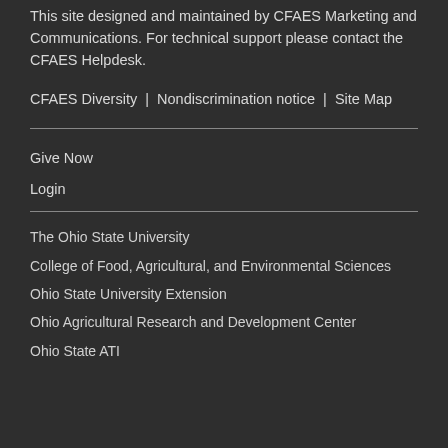This site designed and maintained by CFAES Marketing and Communications. For technical support please contact the CFAES Helpdesk.
CFAES Diversity | Nondiscrimination notice | Site Map
Give Now
Login
The Ohio State University
College of Food, Agricultural, and Environmental Sciences
Ohio State University Extension
Ohio Agricultural Research and Development Center
Ohio State ATI